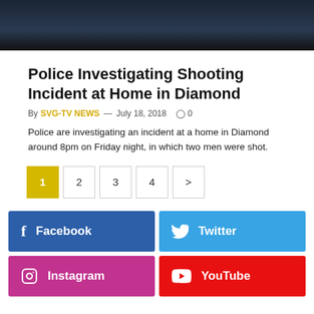[Figure (photo): Dark/night scene photo at top of article]
Police Investigating Shooting Incident at Home in Diamond
By SVG-TV NEWS — July 18, 2018  ○ 0
Police are investigating an incident at a home in Diamond around 8pm on Friday night, in which two men were shot.
Pagination: 1 2 3 4 >
Facebook | Twitter | Instagram | YouTube